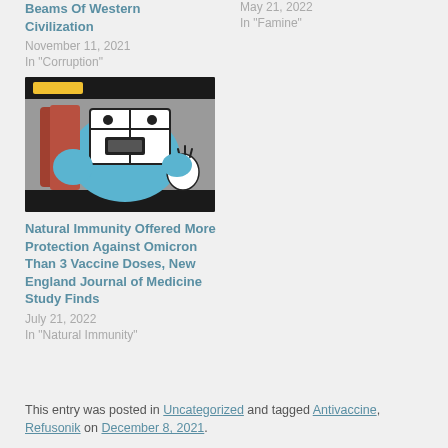Beams Of Western Civilization
November 11, 2021
In "Corruption"
May 21, 2022
In "Famine"
[Figure (illustration): Cartoon illustration of an animated character resembling a face inside a car window, with blue and gray tones, dark border]
Natural Immunity Offered More Protection Against Omicron Than 3 Vaccine Doses, New England Journal of Medicine Study Finds
July 21, 2022
In "Natural Immunity"
This entry was posted in Uncategorized and tagged Antivaccine, Refusonik on December 8, 2021.